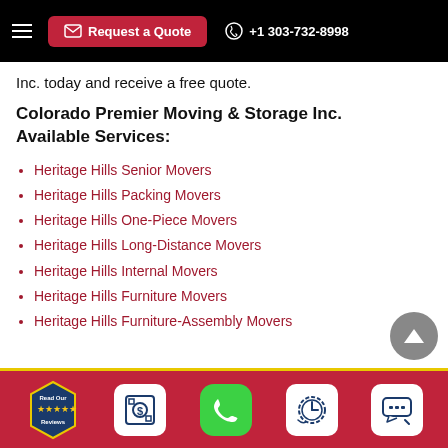Request a Quote | +1 303-732-8998
Inc. today and receive a free quote.
Colorado Premier Moving & Storage Inc. Available Services:
Heritage Hills Senior Movers
Heritage Hills Packing Movers
Heritage Hills One-Piece Movers
Heritage Hills Long-Distance Movers
Heritage Hills Internal Movers
Heritage Hills Furniture Movers
Heritage Hills Furniture-Assembly Movers
Read Our Reviews | Request a Quote | Call | Schedule | Chat